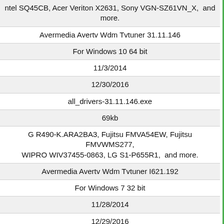| ntel SQ45CB, Acer Veriton X2631, Sony VGN-SZ61VN_X,  and more. |
| Avermedia Avertv Wdm Tvtuner 31.11.146 |
| For Windows 10 64 bit |
| 11/3/2014 |
| 12/30/2016 |
| all_drivers-31.11.146.exe |
| 69kb |
| G R490-K.ARA2BA3, Fujitsu FMVA54EW, Fujitsu FMVWMS277, WIPRO WIV37455-0863, LG S1-P655R1,  and more. |
| Avermedia Avertv Wdm Tvtuner I621.192 |
| For Windows 7 32 bit |
| 11/28/2014 |
| 12/29/2016 |
| all_drivers-i621.192.exe |
| 156kb |
| Lenovo ThinkServer TS430, Packard Bell IXtreme J8038, IBM 8142LU2, IBM 8183GNG, MSI MS-7183, HP Pavilion ze4300, Lenovo 3000 J200 Desktop, LG P210-G.AEW3C1, Packard Bell PACKARD BELL IMAX X7300 SP,  and more. |
| Avermedia Avertv Wdm Tvtuner 81.1360 |